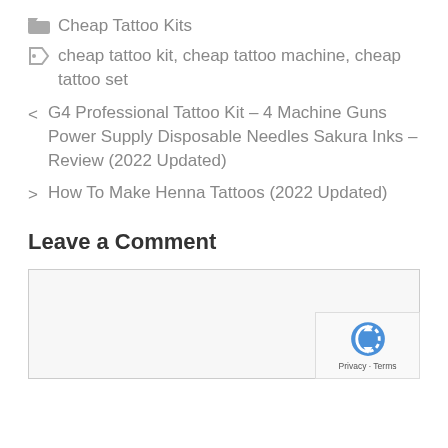Cheap Tattoo Kits
cheap tattoo kit, cheap tattoo machine, cheap tattoo set
< G4 Professional Tattoo Kit – 4 Machine Guns Power Supply Disposable Needles Sakura Inks – Review (2022 Updated)
> How To Make Henna Tattoos (2022 Updated)
Leave a Comment
[Figure (other): reCAPTCHA badge with Privacy and Terms links]